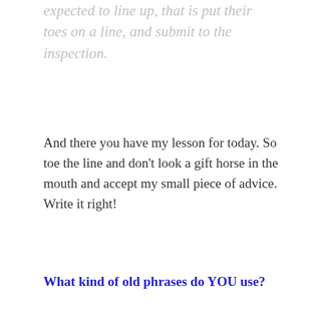expected to line up, that is put their toes on a line, and submit to the inspection.
And there you have my lesson for today. So toe the line and don't look a gift horse in the mouth and accept my small piece of advice. Write it right!
What kind of old phrases do YOU use?